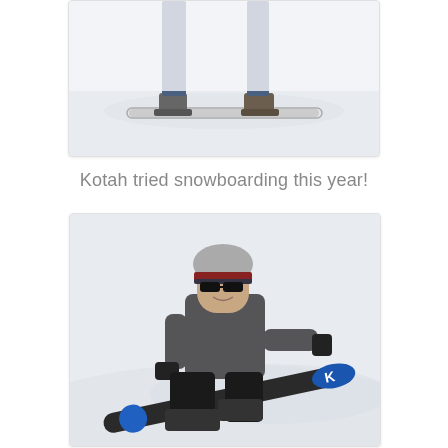[Figure (photo): A person's lower body in jeans and boots standing on a snowboard on snow, viewed from behind/side. The snowboard is white/silver and the background is bright white snow.]
Kotah tried snowboarding this year!
[Figure (photo): A child wearing sunglasses, a gray and red/maroon helmet/beanie, a gray puffer jacket, and black pants sitting on a dark snowboard on a snowy slope. The snowboard has blue circular accents and a logo mark (K or similar) on the tip.]